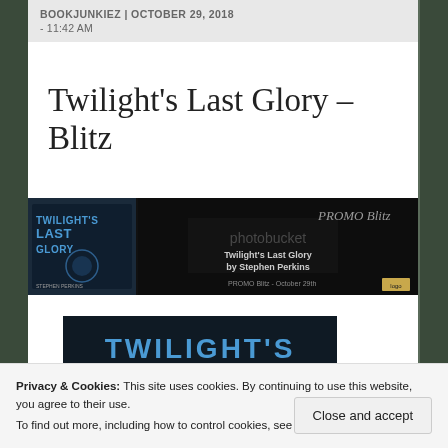BOOKJUNKIEZ | OCTOBER 29, 2018 - 11:42 AM
Twilight's Last Glory – Blitz
[Figure (illustration): Promo blitz banner for Twilight's Last Glory by Stephen Perkins, dark background with photobucket watermark, PROMO Blitz text, October 29th date]
[Figure (illustration): Book cover image showing TWILIGHT'S LAST in large blue text on dark background]
Privacy & Cookies: This site uses cookies. By continuing to use this website, you agree to their use.
To find out more, including how to control cookies, see here: Cookie Policy
Close and accept